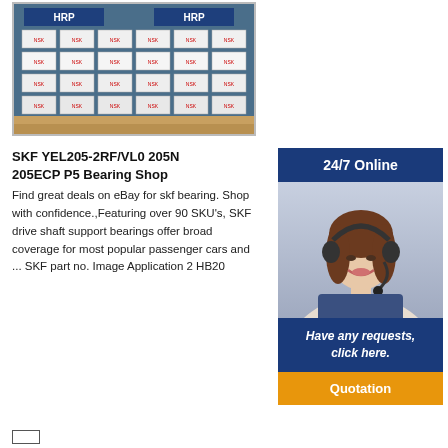[Figure (photo): Photo of a shelf with rows of SKF/HRP bearing boxes stacked in a display case, with HRP logos visible in the background]
SKF YEL205-2RF/VL0 205N 205ECP P5 Bearing Shop
Find great deals on eBay for skf bearing. Shop with confidence.,Featuring over 90 SKU's, SKF drive shaft support bearings offer broad coverage for most popular passenger cars and ... SKF part no. Image Application 2 HB20
[Figure (photo): 24/7 Online service banner with photo of a smiling woman wearing a headset, with 'Have any requests, click here.' text and a Quotation button]